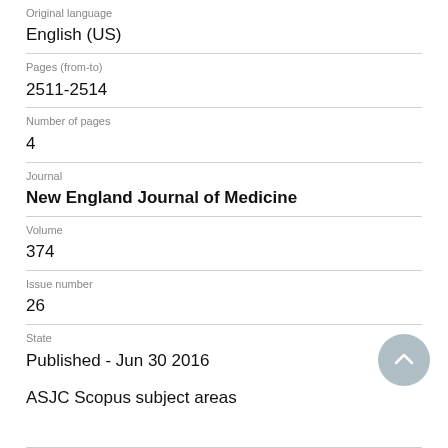Original language
English (US)
Pages (from-to)
2511-2514
Number of pages
4
Journal
New England Journal of Medicine
Volume
374
Issue number
26
State
Published - Jun 30 2016
ASJC Scopus subject areas